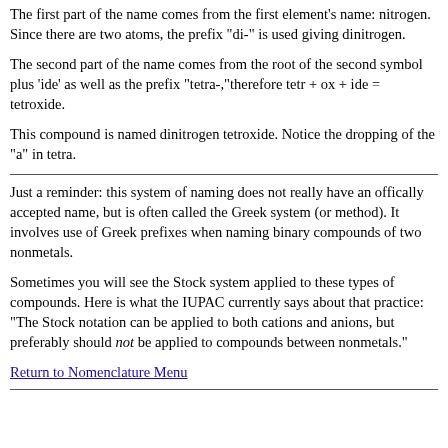The first part of the name comes from the first element's name: nitrogen. Since there are two atoms, the prefix "di-" is used giving dinitrogen.
The second part of the name comes from the root of the second symbol plus 'ide' as well as the prefix "tetra-,"therefore tetr + ox + ide = tetroxide.
This compound is named dinitrogen tetroxide. Notice the dropping of the "a" in tetra.
Just a reminder: this system of naming does not really have an offically accepted name, but is often called the Greek system (or method). It involves use of Greek prefixes when naming binary compounds of two nonmetals.
Sometimes you will see the Stock system applied to these types of compounds. Here is what the IUPAC currently says about that practice: "The Stock notation can be applied to both cations and anions, but preferably should not be applied to compounds between nonmetals."
Return to Nomenclature Menu